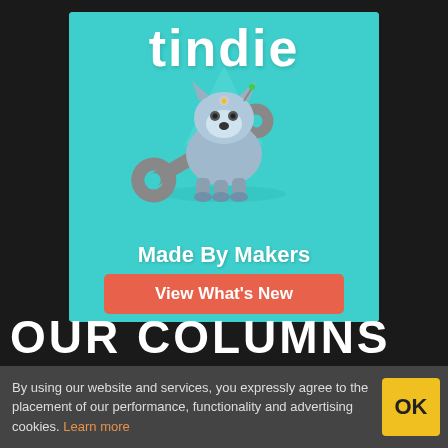[Figure (illustration): Tindie advertisement banner showing the Tindie robot dog mascot carrying a wrench, with text 'tindie', 'Made By Makers', and a red button 'View What's New' on a teal background]
OUR COLUMNS
By using our website and services, you expressly agree to the placement of our performance, functionality and advertising cookies. Learn more